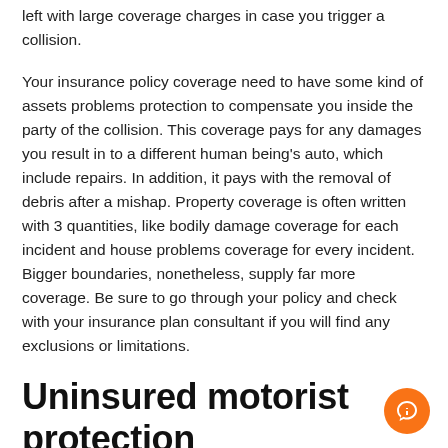left with large coverage charges in case you trigger a collision.
Your insurance policy coverage need to have some kind of assets problems protection to compensate you inside the party of the collision. This coverage pays for any damages you result in to a different human being’s auto, which include repairs. In addition, it pays with the removal of debris after a mishap. Property coverage is often written with 3 quantities, like bodily damage coverage for each incident and house problems coverage for every incident. Bigger boundaries, nonetheless, supply far more coverage. Be sure to go through your policy and check with your insurance plan consultant if you will find any exclusions or limitations.
Uninsured motorist protection
In Ny, you’ll be able to claim uninsured motorist coverage if